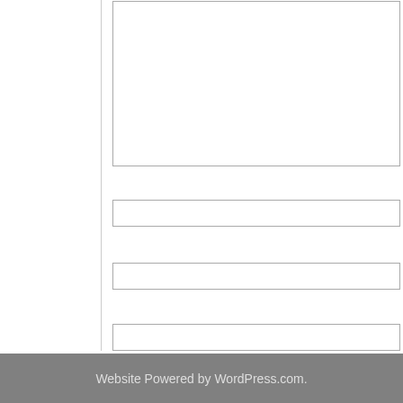[Figure (screenshot): Website comment form with textarea, three input fields, Post Comment button, and two notification checkboxes. Navigation links and WordPress.com footer below.]
Notify me of new comments via email.
Notify me of new posts via email.
« Tax Information for Students Who Had a S...
Did Russian State Sponsored Hackers At... Retaliate Against Sanctions? Or the N...
Website Powered by WordPress.com